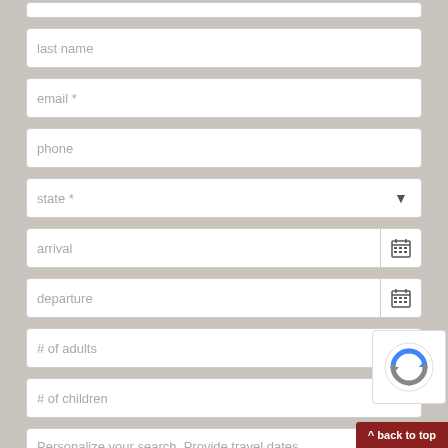[Figure (screenshot): Web form with input fields: last name, email*, phone, state* (dropdown), arrival (date picker), departure (date picker), # of adults, # of children, and a partial text area. A reCAPTCHA widget and a red 'back to top' button appear in the bottom right corner.]